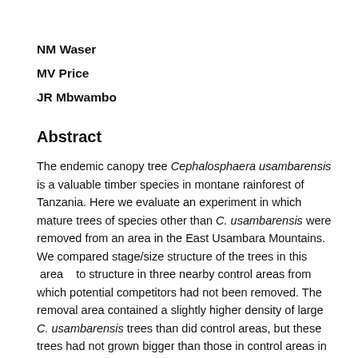NM Waser
MV Price
JR Mbwambo
Abstract
The endemic canopy tree Cephalosphaera usambarensis is a valuable timber species in montane rainforest of Tanzania. Here we evaluate an experiment in which mature trees of species other than C. usambarensis were removed from an area in the East Usambara Mountains. We compared stage/size structure of the trees in this  area   to structure in three nearby control areas from which potential competitors had not been removed. The removal area contained a slightly higher density of large C. usambarensis trees than did control areas, but these trees had not grown bigger than those in control areas in the quarter century since removal. Furthermore, the removal area contained far fewer newly-dispersed seeds, seedlings, or small sapling trees. Thus there is